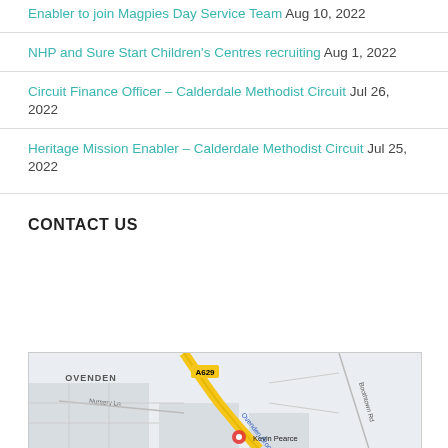Enabler to join Magpies Day Service Team Aug 10, 2022
NHP and Sure Start Children's Centres recruiting Aug 1, 2022
Circuit Finance Officer – Calderdale Methodist Circuit Jul 26, 2022
Heritage Mission Enabler – Calderdale Methodist Circuit Jul 25, 2022
CONTACT US
[Figure (map): Street map showing Ovenden area with A629 road, Ovenden Brook, Nursery Ln, Boothtown Rd, and Kevin Pearce location marker]